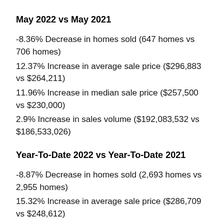May 2022 vs May 2021
-8.36% Decrease in homes sold (647 homes vs 706 homes)
12.37% Increase in average sale price ($296,883 vs $264,211)
11.96% Increase in median sale price ($257,500 vs $230,000)
2.9% Increase in sales volume ($192,083,532 vs $186,533,026)
Year-To-Date 2022 vs Year-To-Date 2021
-8.87% Decrease in homes sold (2,693 homes vs 2,955 homes)
15.32% Increase in average sale price ($286,709 vs $248,612)